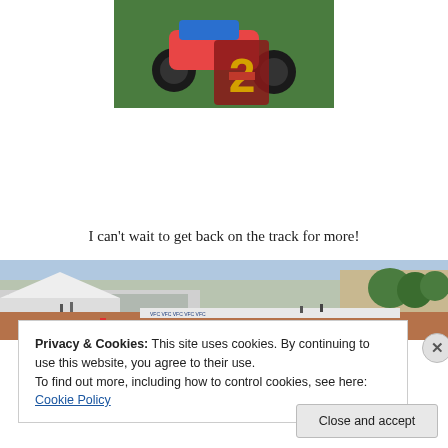[Figure (photo): Motorcycle and racing number 2 signage on green grass background]
I can't wait to get back on the track for more!
[Figure (photo): Outdoor BMX or motocross track with grandstands, spectators, and sponsor banners]
Privacy & Cookies: This site uses cookies. By continuing to use this website, you agree to their use.
To find out more, including how to control cookies, see here: Cookie Policy
Close and accept